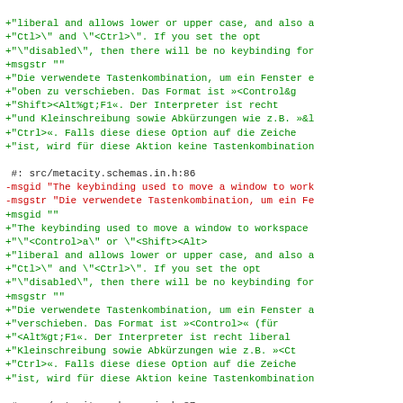code diff block showing gettext translation file content with green additions, red removals, and black comments
#: src/metacity.schemas.in.h:86
-msgid "The keybinding used to move a window to work
-msgstr "Die verwendete Tastenkombination, um ein Fe
+msgid ""
#: src/metacity.schemas.in.h:87
-msgid "The keybinding used to move a window to work